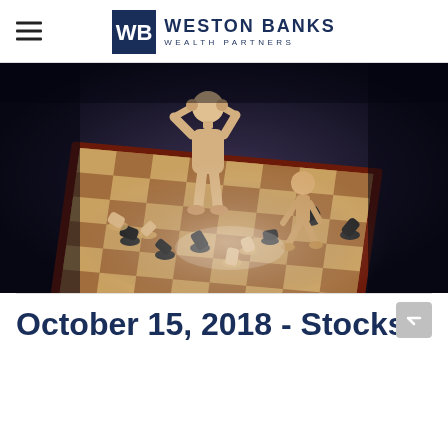WESTON BANKS WEALTH PARTNERS
[Figure (photo): Two wooden artist mannequins on a chess board with fallen chess pieces scattered around them. One mannequin is standing with hands on head, the other is seated. The scene is dramatically lit against a dark background.]
October 15, 2018 - Stocks